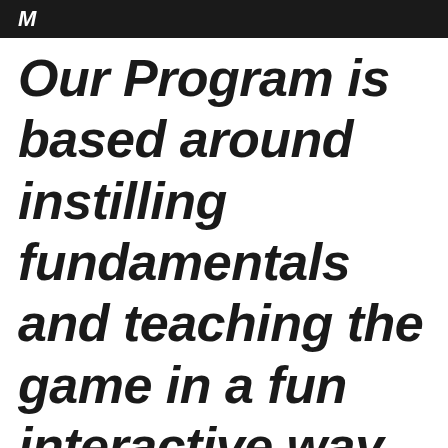M
Our Program is based around instilling fundamentals and teaching the game in a fun interactive way. Increasing confidence on and off the court.